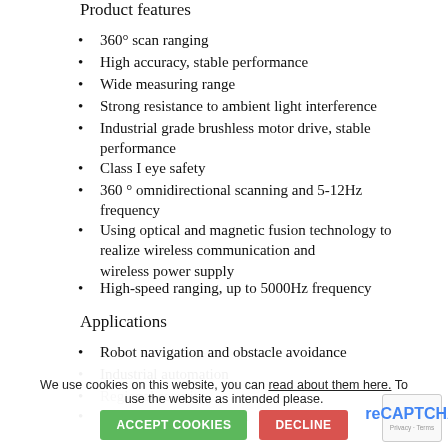Product features
360° scan ranging
High accuracy, stable performance
Wide measuring range
Strong resistance to ambient light interference
Industrial grade brushless motor drive, stable performance
Class I eye safety
360 ° omnidirectional scanning and 5-12Hz frequency
Using optical and magnetic fusion technology to realize wireless communication and wireless power supply
High-speed ranging, up to 5000Hz frequency
Applications
Robot navigation and obstacle avoidance
Industrial automation
Regional security
Intelligent transportation
Environmental scanning and 3D reconstruction
Digital multimedia interaction
Robot ROS teaching and research